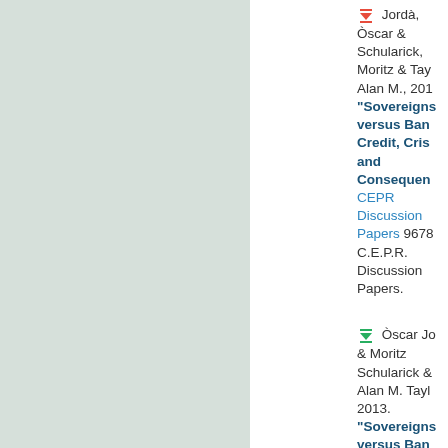Jordà, Òscar & Schularick, Moritz & Taylor, Alan M., 201x. "Sovereigns versus Banks: Credit, Crises and Consequences" CEPR Discussion Papers 9678, C.E.P.R. Discussion Papers.
Òscar Jordà & Moritz Schularick & Alan M. Taylor, 2013. "Sovereigns versus Banks: Credit, Crises and Consequences"